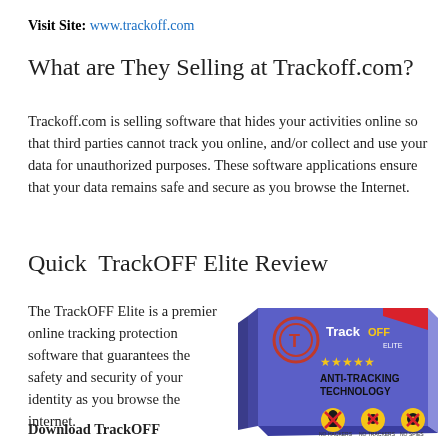Visit Site: www.trackoff.com
What are They Selling at Trackoff.com?
Trackoff.com is selling software that hides your activities online so that third parties cannot track you online, and/or collect and use your data for unauthorized purposes. These software applications ensure that your data remains safe and secure as you browse the Internet.
Quick  TrackOFF Elite Review
The TrackOFF Elite is a premier online tracking protection software that guarantees the safety and security of your identity as you browse the internet.
[Figure (photo): TrackOFF Elite software box with gold stars, 'ANTI-TRACKING TECHNOLOGY' text, and three anti-tracking icons at the bottom]
Download TrackOFF